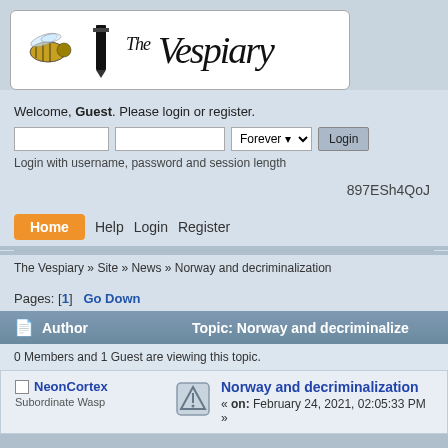[Figure (logo): The Vespiary forum logo with wasp illustration and handwritten-style text]
Welcome, Guest. Please login or register.
Login with username, password and session length
897ESh4QoJ
Home
Help
Login
Register
The Vespiary » Site » News » Norway and decriminalization
Pages: [1]   Go Down
| Author | Topic: Norway and decriminalization |
| --- | --- |
| NeonCortex
Subordinate Wasp | Norway and decriminalization
« on: February 24, 2021, 02:05:33 PM » |
0 Members and 1 Guest are viewing this topic.